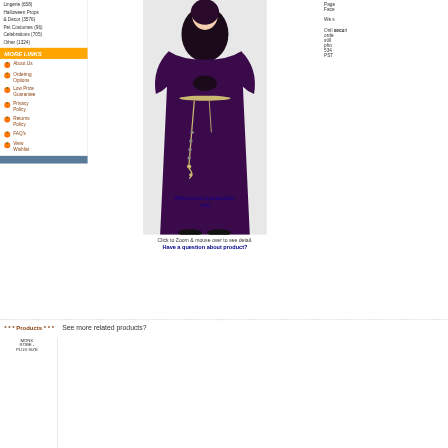Lingerie (658)
Halloween Props & Decor (3576)
Pet Costumes (96)
Celebrations (705)
Other (1324)
MORE LINKS
About Us
Ordering Options
Low Price Guarantee
Privacy Policy
Returns Policy
FAQ's
View Wishlist
[Figure (photo): Monk in a dark purple/black robe with rope belt and rosary, hands clasped. Watermark reads HalloweenCostumeSale.com]
Click to Zoom & mouse over to see detail.
Have a question about product?
Page Face
We s
Onli securi orde still pho 534 PST
* * *  Products * * *  See more related products?
MONK ROBE - PLUS SIZE
Categories
Mens Costumes
Adult Costumes
Accessories
Plus Size Costume
Capes & Robes
Keywords
MONK